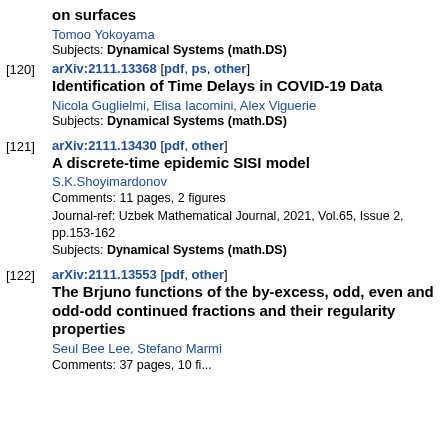on surfaces
Tomoo Yokoyama
Subjects: Dynamical Systems (math.DS)
[120] arXiv:2111.13368 [pdf, ps, other] Identification of Time Delays in COVID-19 Data. Nicola Guglielmi, Elisa Iacomini, Alex Viguerie. Subjects: Dynamical Systems (math.DS)
[121] arXiv:2111.13430 [pdf, other] A discrete-time epidemic SISI model. S.K.Shoyimardonov. Comments: 11 pages, 2 figures. Journal-ref: Uzbek Mathematical Journal, 2021, Vol.65, Issue 2, pp.153-162. Subjects: Dynamical Systems (math.DS)
[122] arXiv:2111.13553 [pdf, other] The Brjuno functions of the by-excess, odd, even and odd-odd continued fractions and their regularity properties. Seul Bee Lee, Stefano Marmi. Comments: 37 pages, 10 fi...